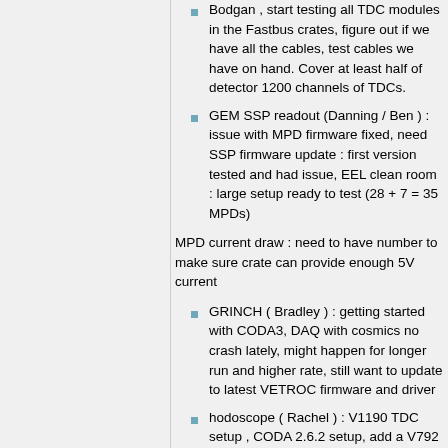Bodgan , start testing all TDC modules in the Fastbus crates, figure out if we have all the cables, test cables we have on hand. Cover at least half of detector 1200 channels of TDCs.
GEM SSP readout (Danning / Ben ) : issue with MPD firmware fixed, need SSP firmware update : first version tested and had issue, EEL clean room : large setup ready to test (28 + 7 = 35 MPDs)
MPD current draw : need to have number to make sure crate can provide enough 5V current
GRINCH ( Bradley ) : getting started with CODA3, DAQ with cosmics no crash lately, might happen for longer run and higher rate, still want to update to latest VETROC firmware and driver
hodoscope ( Rachel ) : V1190 TDC setup , CODA 2.6.2 setup, add a V792 for calibration, setup detector to look at real signal